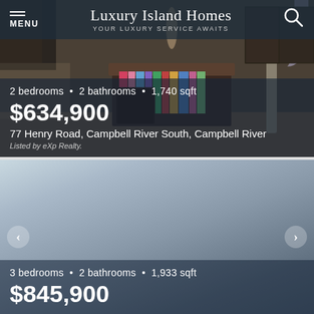MENU | Luxury Island Homes | YOUR LUXURY SERVICE AWAITS
[Figure (photo): Kitchen interior with dark wood island cabinet and bookshelves, bar stool visible on right, dark cabinetry in background]
2 bedrooms  •  2 bathrooms  •  1,740 sqft
$634,900
77 Henry Road, Campbell River South, Campbell River
Listed by eXp Realty.
[Figure (photo): Exterior photo of a blue two-story house with attached garage, shingled roof and dormer windows, surrounded by tall trees under a blue sky]
3 bedrooms  •  2 bathrooms  •  1,933 sqft
$845,900